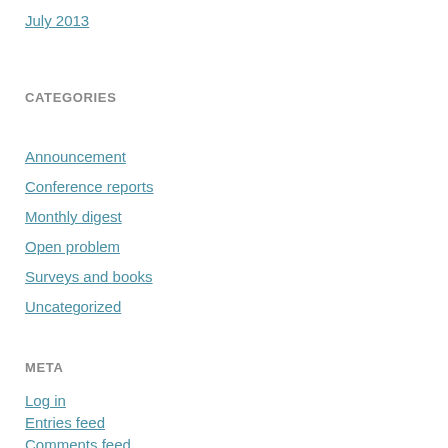July 2013
CATEGORIES
Announcement
Conference reports
Monthly digest
Open problem
Surveys and books
Uncategorized
META
Log in
Entries feed
Comments feed
WordPress.org